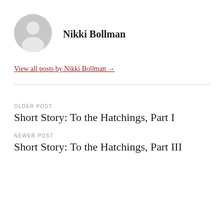Nikki Bollman
View all posts by Nikki Bollman →
OLDER POST
Short Story: To the Hatchings, Part I
NEWER POST
Short Story: To the Hatchings, Part III